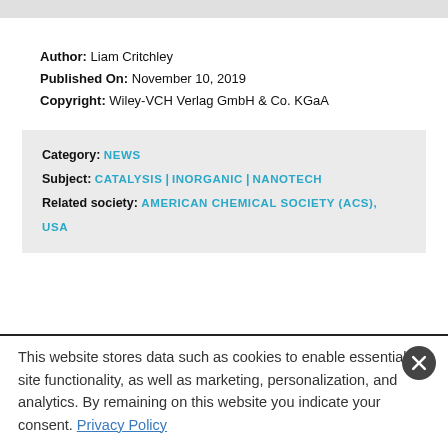Author: Liam Critchley
Published On: November 10, 2019
Copyright: Wiley-VCH Verlag GmbH & Co. KGaA
Category: NEWS
Subject: CATALYSIS | INORGANIC | NANOTECH
Related society: AMERICAN CHEMICAL SOCIETY (ACS), USA
This website stores data such as cookies to enable essential site functionality, as well as marketing, personalization, and analytics. By remaining on this website you indicate your consent. Privacy Policy